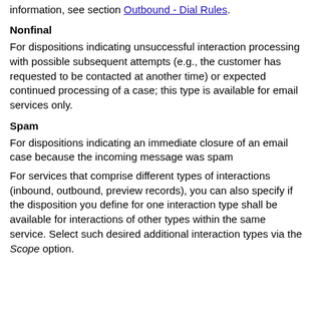information, see section Outbound - Dial Rules.
Nonfinal
For dispositions indicating unsuccessful interaction processing with possible subsequent attempts (e.g., the customer has requested to be contacted at another time) or expected continued processing of a case; this type is available for email services only.
Spam
For dispositions indicating an immediate closure of an email case because the incoming message was spam
For services that comprise different types of interactions (inbound, outbound, preview records), you can also specify if the disposition you define for one interaction type shall be available for interactions of other types within the same service. Select such desired additional interaction types via the Scope option.